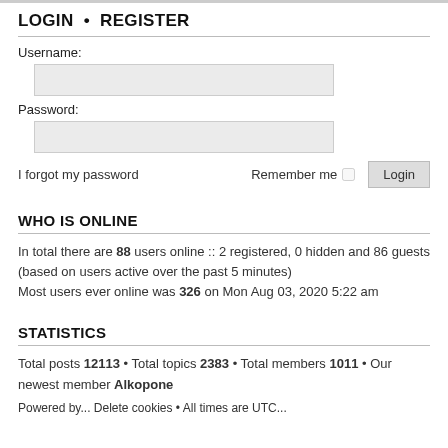LOGIN • REGISTER
Username:
Password:
I forgot my password    Remember me  [checkbox]  Login
WHO IS ONLINE
In total there are 88 users online :: 2 registered, 0 hidden and 86 guests (based on users active over the past 5 minutes)
Most users ever online was 326 on Mon Aug 03, 2020 5:22 am
STATISTICS
Total posts 12113 • Total topics 2383 • Total members 1011 • Our newest member Alkopone
Powered by... Delete cookies • All times are UTC...